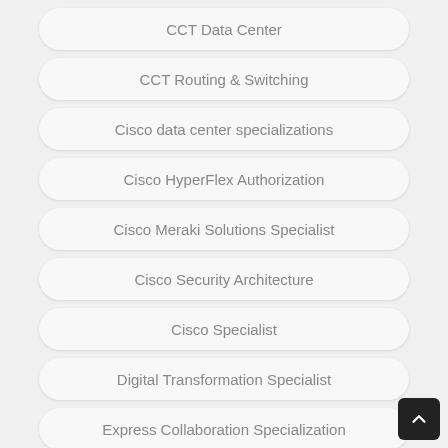CCT Data Center
CCT Routing & Switching
Cisco data center specializations
Cisco HyperFlex Authorization
Cisco Meraki Solutions Specialist
Cisco Security Architecture
Cisco Specialist
Digital Transformation Specialist
Express Collaboration Specialization